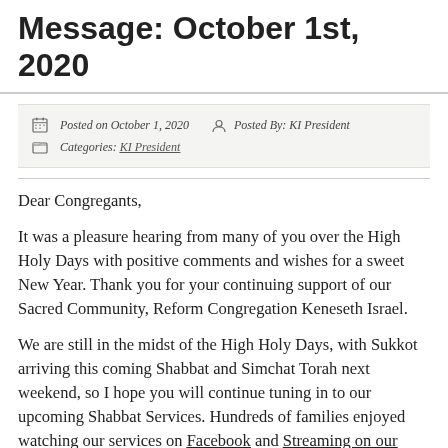Message: October 1st, 2020
Posted on October 1, 2020   Posted By: KI President   Categories: KI President
Dear Congregants,
It was a pleasure hearing from many of you over the High Holy Days with positive comments and wishes for a sweet New Year. Thank you for your continuing support of our Sacred Community, Reform Congregation Keneseth Israel.
We are still in the midst of the High Holy Days, with Sukkot arriving this coming Shabbat and Simchat Torah next weekend, so I hope you will continue tuning in to our upcoming Shabbat Services. Hundreds of families enjoyed watching our services on Facebook and Streaming on our website.